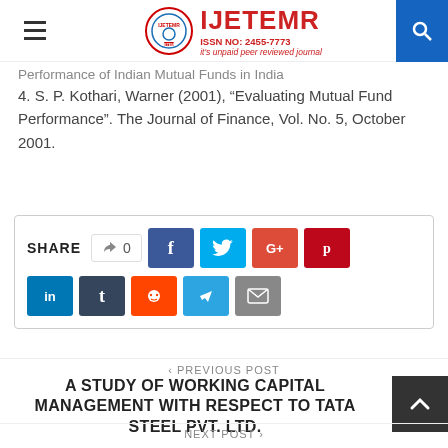IJETEMR | ISSN NO: 2455-7773 | it's unpaid peer reviewed journal
Performance of Indian Mutual Funds in India (partial, truncated)
4. S. P. Kothari, Warner (2001), “Evaluating Mutual Fund Performance”. The Journal of Finance, Vol. No. 5, October 2001.
[Figure (infographic): Share buttons row: like (0), Facebook, Twitter, Google+, Pinterest, LinkedIn, Tumblr, Reddit, Telegram, Email]
< PREVIOUS POST
A STUDY OF WORKING CAPITAL MANAGEMENT WITH RESPECT TO TATA STEEL PVT. LTD.
NEXT POST >